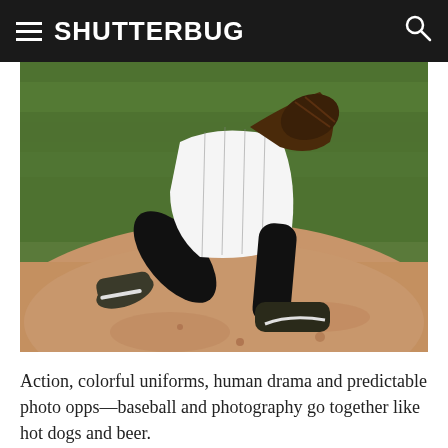SHUTTERBUG
[Figure (photo): A baseball pitcher mid-delivery on the pitcher's mound, wearing a white pinstripe uniform and black socks with Mizuno cleats. Only the lower body and pitching arm/glove are visible. The background shows green outfield grass and the dirt of the pitcher's mound.]
Action, colorful uniforms, human drama and predictable photo opps—baseball and photography go together like hot dogs and beer.